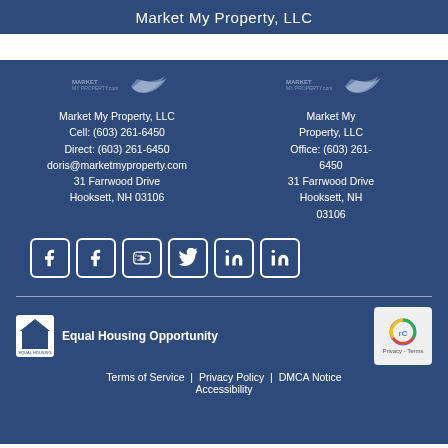Market My Property, LLC
Market My Property, LLC
Cell: (603) 261-6450
Direct: (603) 261-6450
doris@marketmyproperty.com
31 Farrwood Drive
Hooksett, NH 03106
Market My Property, LLC
Office: (603) 261-6450
31 Farrwood Drive
Hooksett, NH 03106
[Figure (other): Social media icon links: Facebook, Facebook, YouTube, Twitter, LinkedIn, LinkedIn]
[Figure (logo): Equal Housing Opportunity logo with house icon]
Equal Housing Opportunity
[Figure (other): reCAPTCHA badge with Privacy - Terms]
Terms of Service | Privacy Policy | DMCA Notice | Accessibility